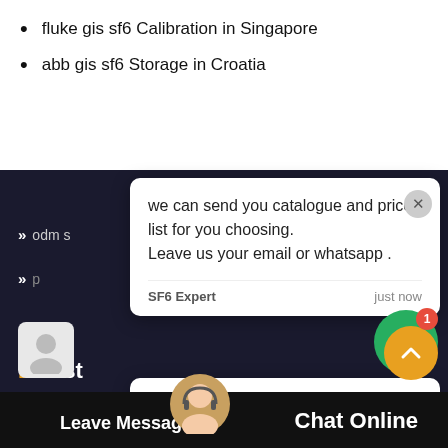fluke gis sf6 Calibration in Singapore
abb gis sf6 Storage in Croatia
Latest
odm s…
synec…
new t…
concordegas Maintenance in New Caledonia
synecom Calibration in Cyprus
boscn gis sf6 Servicing in Ge…
[Figure (screenshot): Chat popup overlay with message: 'we can send you catalogue and price list for you choosing. Leave us your email or whatsapp .' from SF6 Expert, just now. Below is a reply input box with placeholder 'Write a reply..' and like/attach icons. A green chat bubble button with badge '1' is visible. An orange scroll-to-top button is shown. Bottom bar shows support avatar, 'Leave Message' text and 'Chat Online' text.]